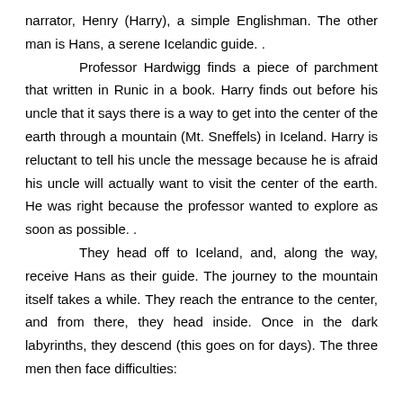narrator, Henry (Harry), a simple Englishman. The other man is Hans, a serene Icelandic guide. .

Professor Hardwigg finds a piece of parchment that written in Runic in a book. Harry finds out before his uncle that it says there is a way to get into the center of the earth through a mountain (Mt. Sneffels) in Iceland. Harry is reluctant to tell his uncle the message because he is afraid his uncle will actually want to visit the center of the earth. He was right because the professor wanted to explore as soon as possible. .

They head off to Iceland, and, along the way, receive Hans as their guide. The journey to the mountain itself takes a while. They reach the entrance to the center, and from there, they head inside. Once in the dark labyrinths, they descend (this goes on for days). The three men then face difficulties: